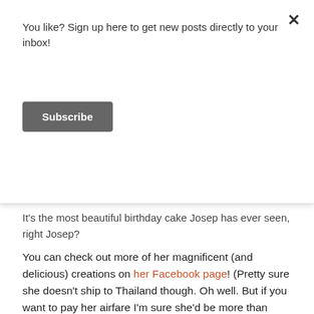You like? Sign up here to get new posts directly to your inbox!
Subscribe
It's the most beautiful birthday cake Josep has ever seen, right Josep?
You can check out more of her magnificent (and delicious) creations on her Facebook page! (Pretty sure she doesn’t ship to Thailand though. Oh well. But if you want to pay her airfare I’m sure she’d be more than happy to come bake you a beautiful birthday cake in the comfort of your home!)
“write a lettre invite your friend to visit morocoo a aid adha”
Dear Josep,